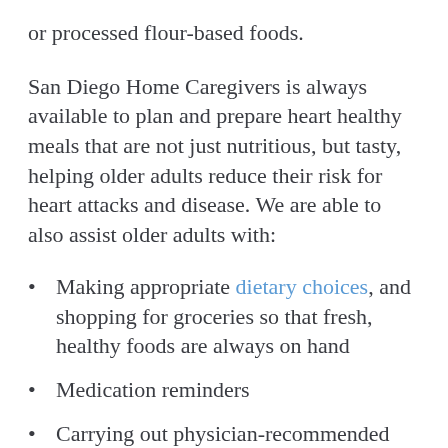or processed flour-based foods.
San Diego Home Caregivers is always available to plan and prepare heart healthy meals that are not just nutritious, but tasty, helping older adults reduce their risk for heart attacks and disease. We are able to also assist older adults with:
Making appropriate dietary choices, and shopping for groceries so that fresh, healthy foods are always on hand
Medication reminders
Carrying out physician-recommended activity programs
Safe accompaniment to doctor